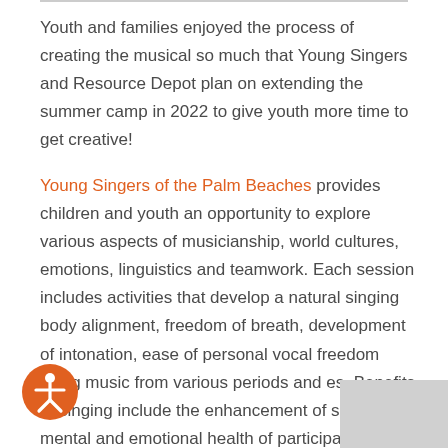Youth and families enjoyed the process of creating the musical so much that Young Singers and Resource Depot plan on extending the summer camp in 2022 to give youth more time to get creative!
Young Singers of the Palm Beaches provides children and youth an opportunity to explore various aspects of musicianship, world cultures, emotions, linguistics and teamwork. Each session includes activities that develop a natural singing body alignment, freedom of breath, development of intonation, ease of personal vocal freedom using music from various periods and es. Benefits of singing include the enhancement of social, mental and emotional health of participating
[Figure (illustration): Accessibility icon: orange circle with a white stick-figure person with arms outstretched]